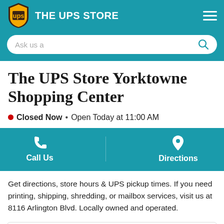THE UPS STORE
The UPS Store Yorktowne Shopping Center
Closed Now • Open Today at 11:00 AM
Call Us | Directions
Get directions, store hours & UPS pickup times. If you need printing, shipping, shredding, or mailbox services, visit us at 8116 Arlington Blvd. Locally owned and operated.
8116 Arlington Blvd